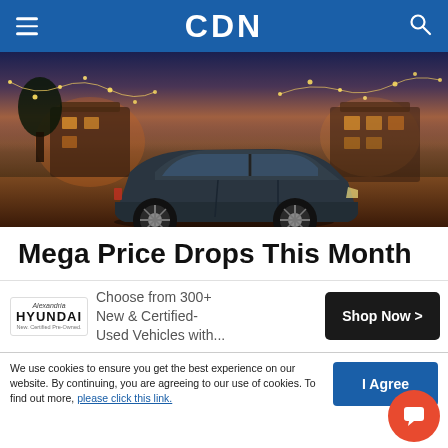CDN
[Figure (photo): A dark SUV (crossover) parked outdoors at dusk with warm string lights and illuminated structures in the background]
Mega Price Drops This Month
[Figure (infographic): Alexandria Hyundai advertisement — logo with text: Choose from 300+ New & Certified-Used Vehicles with... Shop Now >]
We use cookies to ensure you get the best experience on our website. By continuing, you are agreeing to our use of cookies. To find out more, please click this link.